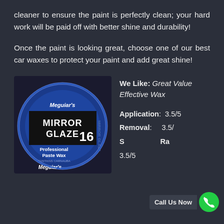cleaner to ensure the paint is perfectly clean; your hard work will be paid off with better shine and durability!
Once the paint is looking great, choose one of our best car waxes to protect your paint and add great shine!
[Figure (photo): Meguiar's Mirror Glaze 16 Professional Paste Wax tin container, top-down view showing the blue tin with black label]
We Like: Great Value Effective Wax

Application: 3.5/5
Removal: 3.5/
Shine: 3.5/5 Rated: 3.5/5